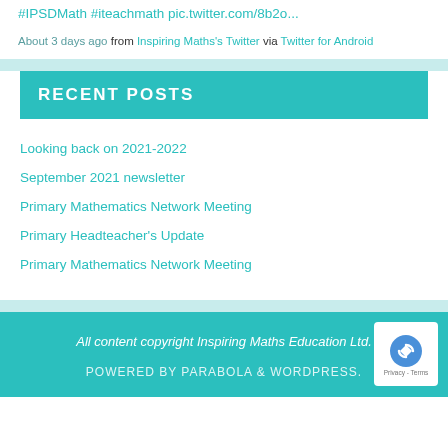#IPSDMath #iteachmath pic.twitter.com/8b2o...
About 3 days ago from Inspiring Maths's Twitter via Twitter for Android
RECENT POSTS
Looking back on 2021-2022
September 2021 newsletter
Primary Mathematics Network Meeting
Primary Headteacher's Update
Primary Mathematics Network Meeting
All content copyright Inspiring Maths Education Ltd. POWERED BY PARABOLA & WORDPRESS.